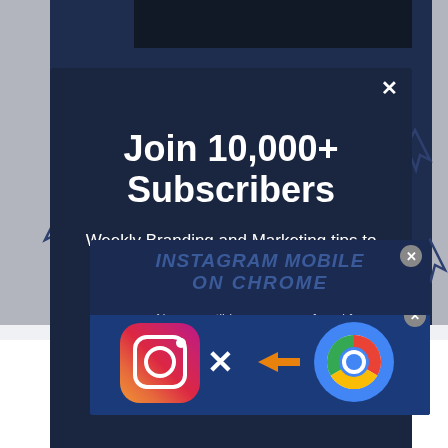[Figure (screenshot): A website screenshot showing a newsletter subscription popup modal over a dark navy background with cursor arrow icons. The modal reads 'Join 10,000+ Subscribers' with subtitle 'Weekly Branding and Marketing tips to grow'. A video popup overlay appears below showing 'No compatible source was found for this media.' with an Instagram + Chrome thumbnail at the bottom. There is an X close button on the popup and a close circle button on the video popup.]